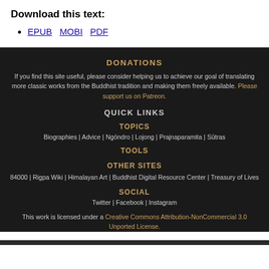Download this text:
EPUB  MOBI  PDF
DONATIONS
If you find this site useful, please consider helping us to achieve our goal of translating more classic works from the Buddhist tradition and making them freely available. Please support us on Patreon.
QUICK LINKS
TOPICS
Biographies | Advice | Ngöndro | Lojong | Prajnaparamita | Sūtras
TOOLS
OTHER SITES
84000 | Rigpa Wiki | Himalayan Art | Buddhist Digital Resource Center | Treasury of Lives
SOCIAL
Twitter | Facebook | Instagram
This work is licensed under a Creative Commons Attribution-NonCommercial 3.0 Unported License.